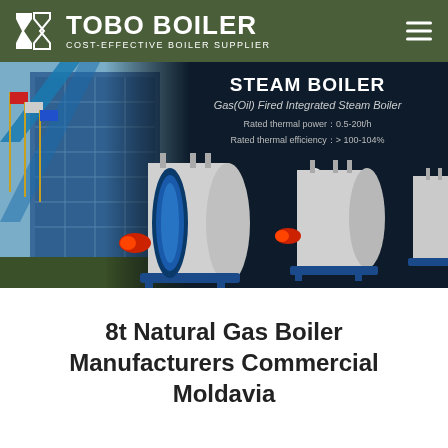TOBO BOILER — COST-EFFECTIVE BOILER SUPPLIER
[Figure (photo): Hero banner showing a building exterior on the left and three industrial steam boilers (Gas/Oil Fired Integrated Steam Boilers) on a dark background on the right, with text overlay showing product details.]
8t Natural Gas Boiler Manufacturers Commercial Moldavia